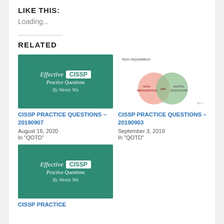LIKE THIS:
Loading...
RELATED
[Figure (illustration): Green book cover: Effective CISSP Practice Questions By Wentz Wu]
CISSP PRACTICE QUESTIONS – 20190907
August 16, 2020
In "QOTD"
[Figure (illustration): Venn diagram showing Non-repudiation with two overlapping circles]
CISSP PRACTICE QUESTIONS – 20190903
September 3, 2019
In "QOTD"
[Figure (illustration): Green book cover: Effective CISSP Practice Questions By Wentz Wu]
CISSP PRACTICE